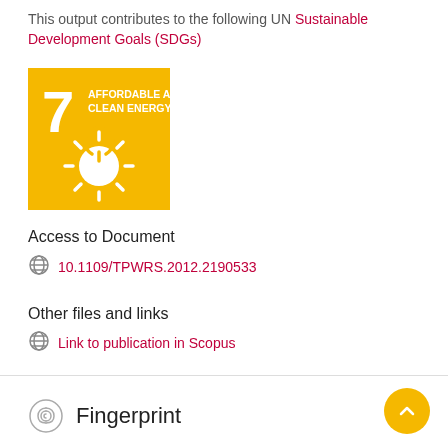This output contributes to the following UN Sustainable Development Goals (SDGs)
[Figure (illustration): UN SDG 7 badge — Affordable and Clean Energy — yellow square with sun/power icon and white text]
Access to Document
10.1109/TPWRS.2012.2190533
Other files and links
Link to publication in Scopus
Fingerprint